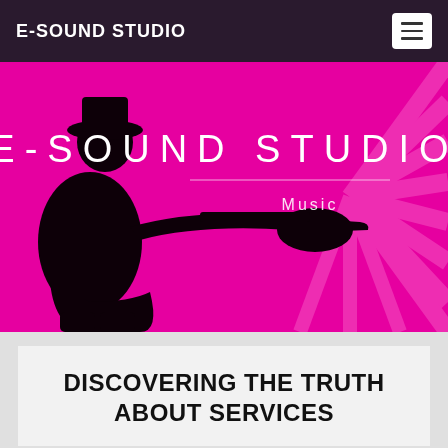E-SOUND STUDIO
[Figure (illustration): Hero banner with magenta/pink radial background and black silhouette of a guitarist playing electric guitar. Large white text reads 'E - S O U N D  S T U D I O' with 'Music' subtitle below a horizontal divider line.]
DISCOVERING THE TRUTH ABOUT SERVICES